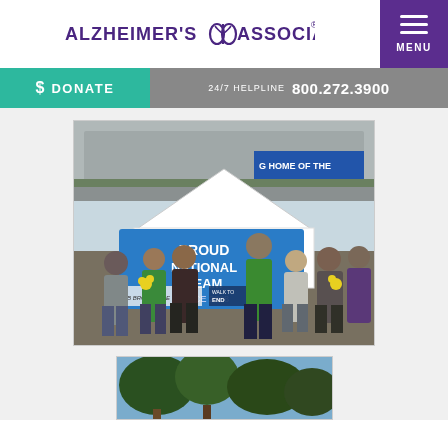ALZHEIMER'S ASSOCIATION® | MENU
$ DONATE  |  24/7 HELPLINE  800.272.3900
[Figure (photo): Group of people standing in front of a white tent with a blue banner reading 'PROUD NATIONAL TEAM SINCE 2008' at an outdoor Alzheimer's Walk to End Alzheimer's event. Brookdale and Walk to End Alzheimer's logos visible on banner. Stadium visible in background.]
[Figure (photo): Partial view of an outdoor scene with trees against a blue sky.]